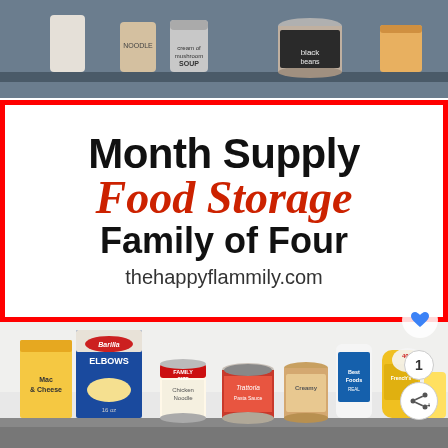[Figure (photo): Shelf with canned goods including Cream of Mushroom Soup and other cans]
Month Supply Food Storage Family of Four
thehappyflammily.com
[Figure (photo): Shelf with pantry food items: Barilla Elbows pasta box, mac and cheese box, Chicken Noodle soup can, Trattoria pasta sauce jar, peanut butter jar, Best Foods mayo jar, French's mustard bottle, and other items]